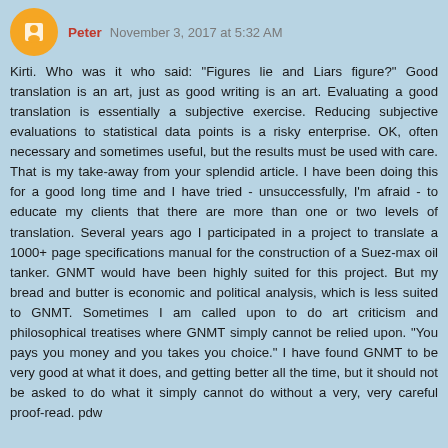Peter  November 3, 2017 at 5:32 AM
Kirti. Who was it who said: "Figures lie and Liars figure?" Good translation is an art, just as good writing is an art. Evaluating a good translation is essentially a subjective exercise. Reducing subjective evaluations to statistical data points is a risky enterprise. OK, often necessary and sometimes useful, but the results must be used with care. That is my take-away from your splendid article. I have been doing this for a good long time and I have tried - unsuccessfully, I'm afraid - to educate my clients that there are more than one or two levels of translation. Several years ago I participated in a project to translate a 1000+ page specifications manual for the construction of a Suez-max oil tanker. GNMT would have been highly suited for this project. But my bread and butter is economic and political analysis, which is less suited to GNMT. Sometimes I am called upon to do art criticism and philosophical treatises where GNMT simply cannot be relied upon. "You pays you money and you takes you choice." I have found GNMT to be very good at what it does, and getting better all the time, but it should not be asked to do what it simply cannot do without a very, very careful proof-read. pdw